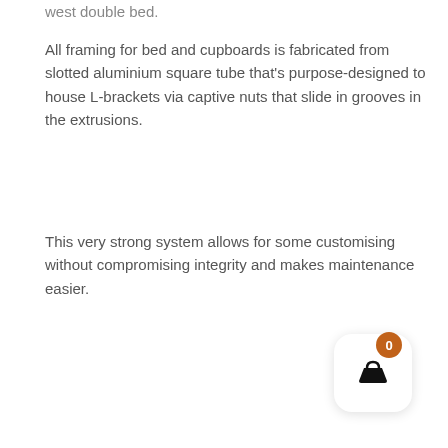west double bed.
All framing for bed and cupboards is fabricated from slotted aluminium square tube that’s purpose-designed to house L-brackets via captive nuts that slide in grooves in the extrusions.
This very strong system allows for some customising without compromising integrity and makes maintenance easier.
[Figure (other): Shopping basket widget with orange badge showing count 0]